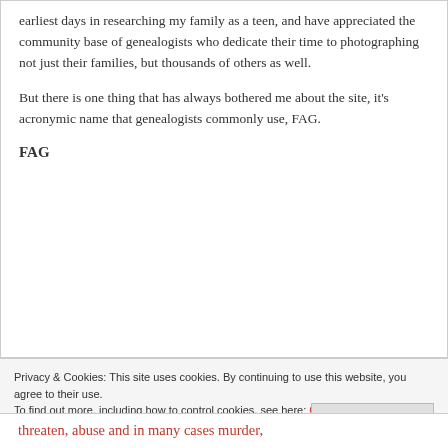earliest days in researching my family as a teen, and have appreciated the community base of genealogists who dedicate their time to photographing not just their families, but thousands of others as well.
But there is one thing that has always bothered me about the site, it's acronymic name that genealogists commonly use, FAG.
FAG
Privacy & Cookies: This site uses cookies. By continuing to use this website, you agree to their use. To find out more, including how to control cookies, see here: Cookie Policy
Close and accept
threaten, abuse and in many cases murder,